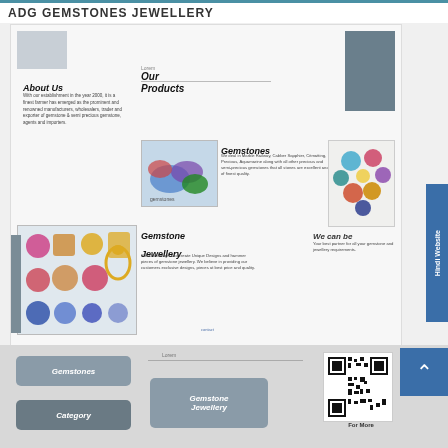ADG GEMSTONES JEWELLERY
[Figure (screenshot): Website screenshot of ADG Gemstones Jewellery showing About Us section, Our Products with Gemstones and Gemstone Jewellery, We can be partner section, gemstone images, navigation buttons, QR code, and Hindi Website tab]
About Us
With our establishment in the year 2000, it is a finest farmer has emerged as the prominent and renowned manufacturers, wholesalers, trader and exporter of gemstone & semi precious gemstone, agents and importers.
Our Products
Gemstones
We deal in Marble Railway, Cabber Sapphier, Citmatting, Precious, Aquamarine along with all other precious and semi-precious gemstones that all stones are excellent and of finest quality.
Gemstone Jewellery
We also design and create Unique Designs and hammer pieces of gemstone jewellery. We believe in providing our customers exclusive designs, pieces at best price and quality.
We can be
Your best partner for all your gemstone and jewellery requirements.
Gemstones
Category
Gemstone Jewellery
For More